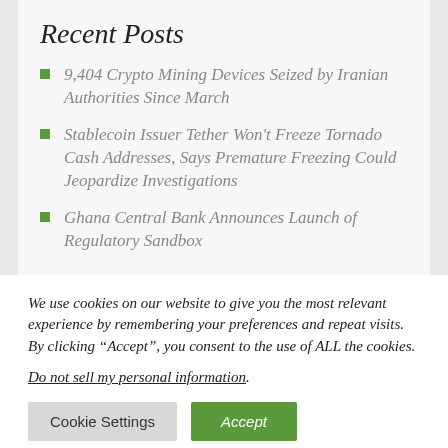Recent Posts
9,404 Crypto Mining Devices Seized by Iranian Authorities Since March
Stablecoin Issuer Tether Won't Freeze Tornado Cash Addresses, Says Premature Freezing Could Jeopardize Investigations
Ghana Central Bank Announces Launch of Regulatory Sandbox
We use cookies on our website to give you the most relevant experience by remembering your preferences and repeat visits. By clicking “Accept”, you consent to the use of ALL the cookies.
Do not sell my personal information.